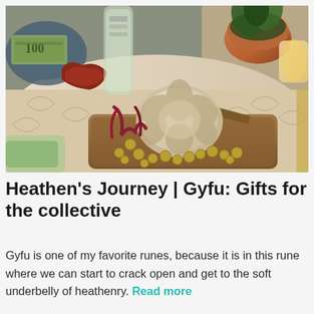[Figure (photo): A flat-lay photograph of a wooden tray on a decorated cloth surface containing natural items: a large dried flower or rose of Jericho, jingle bells, dried red plants, and various other natural/spiritual objects. In the background are a plant in a copper pot, a bottle, dollar bills in a bowl, and other items on a textile with leaf prints.]
Heathen's Journey | Gyfu: Gifts for the collective
Gyfu is one of my favorite runes, because it is in this rune where we can start to crack open and get to the soft underbelly of heathenry. Read more